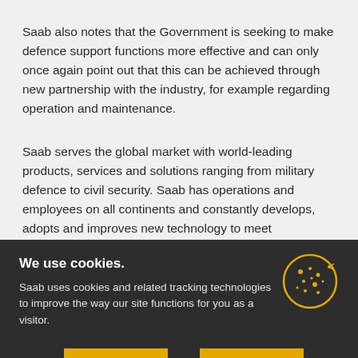Saab also notes that the Government is seeking to make defence support functions more effective and can only once again point out that this can be achieved through new partnership with the industry, for example regarding operation and maintenance.
Saab serves the global market with world-leading products, services and solutions ranging from military defence to civil security. Saab has operations and employees on all continents and constantly develops, adopts and improves new technology to meet
We use cookies.
Saab uses cookies and related tracking technologies to improve the way our site functions for you as a visitor.